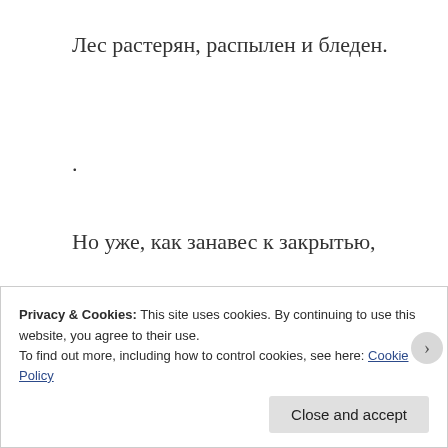Лес растерян, распылен и бледен.
.
Но уже, как занавес к закрытью,
К темноте край леса тяготеет,
Privacy & Cookies: This site uses cookies. By continuing to use this website, you agree to their use.
To find out more, including how to control cookies, see here: Cookie Policy
Close and accept